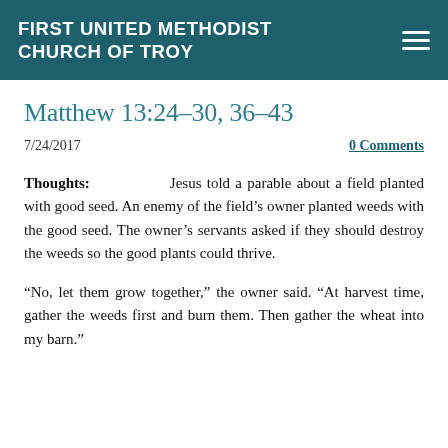FIRST UNITED METHODIST CHURCH OF TROY
Matthew 13:24-30, 36-43
7/24/2017
0 Comments
Thoughts: Jesus told a parable about a field planted with good seed.  An enemy of the field's owner planted weeds with the good seed.  The owner's servants asked if they should destroy the weeds so the good plants could thrive.
“No, let them grow together,” the owner said.  “At harvest time, gather the weeds first and burn them.  Then gather the wheat into my barn.”